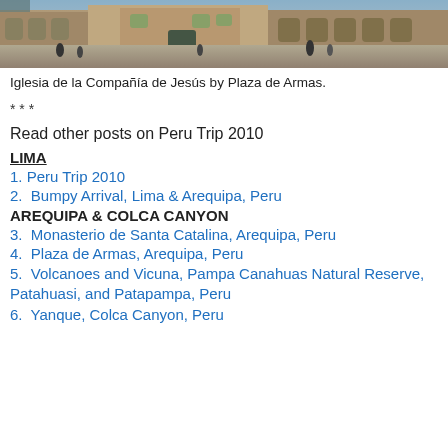[Figure (photo): Photograph of Iglesia de la Compañía de Jesús by Plaza de Armas, Cusco, Peru — a wide stone plaza with colonial church facade and people walking.]
Iglesia de la Compañía de Jesús by Plaza de Armas.
* * *
Read other posts on Peru Trip 2010
LIMA
1. Peru Trip 2010
2.  Bumpy Arrival, Lima & Arequipa, Peru
AREQUIPA & COLCA CANYON
3.  Monasterio de Santa Catalina, Arequipa, Peru
4.  Plaza de Armas, Arequipa, Peru
5.  Volcanoes and Vicuna, Pampa Canahuas Natural Reserve, Patahuasi, and Patapampa, Peru
6.  Yanque, Colca Canyon, Peru